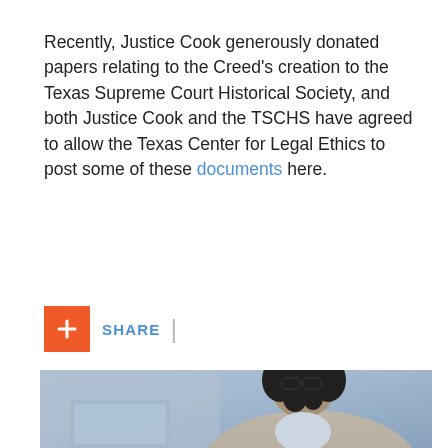Recently, Justice Cook generously donated papers relating to the Creed's creation to the Texas Supreme Court Historical Society, and both Justice Cook and the TSCHS have agreed to allow the Texas Center for Legal Ethics to post some of these documents here.
[Figure (other): Share button bar with orange plus icon and blue SHARE text followed by a vertical divider]
[Figure (photo): A young woman with curly dark hair and glasses, wearing a light beige blazer over a white top, looking at a laptop screen. The photo has a cool blue-grey tone.]